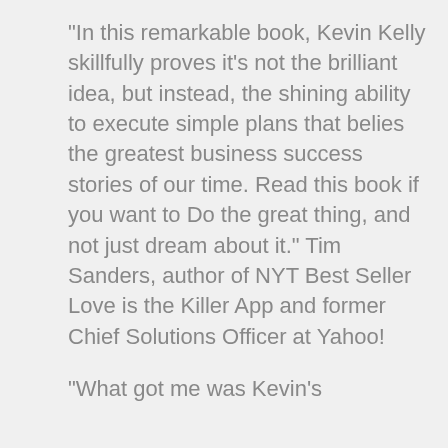“In this remarkable book, Kevin Kelly skillfully proves it’s not the brilliant idea, but instead, the shining ability to execute simple plans that belies the greatest business success stories of our time. Read this book if you want to Do the great thing, and not just dream about it.” Tim Sanders, author of NYT Best Seller Love is the Killer App and former Chief Solutions Officer at Yahoo!
“What got me was Kevin’s